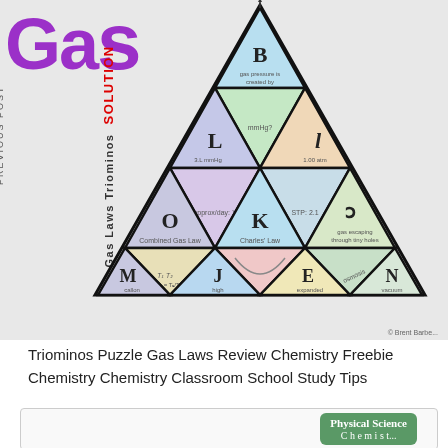[Figure (illustration): Gas Laws Triominos puzzle solution sheet showing a large triangle made up of smaller triangular puzzle pieces, each labeled with letters (B, L, O, K, G, A, M, J, E, N, F, D, C, H) and containing gas law terms. The puzzle is labeled 'Gas Laws Triominos SOLUTION' with text rotated vertically on the left side. The top-left corner shows 'GAS' in large purple letters.]
Triominos Puzzle Gas Laws Review Chemistry Freebie Chemistry Chemistry Classroom School Study Tips
[Figure (screenshot): Bottom portion of next image showing 'Physical Science' text in a green rounded rectangle, partially visible.]